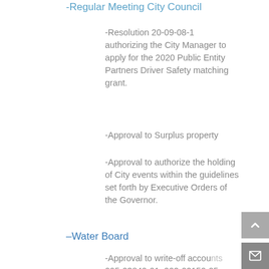-Regular Meeting City Council
-Resolution 20-09-08-1 authorizing the City Manager to apply for the 2020 Public Entity Partners Driver Safety matching grant.
-Approval to Surplus property
-Approval to authorize the holding of City events within the guidelines set forth by Executive Orders of the Governor.
-Water Board
-Approval to write-off accounts 005-03840-01, 002-02150-05, 007-